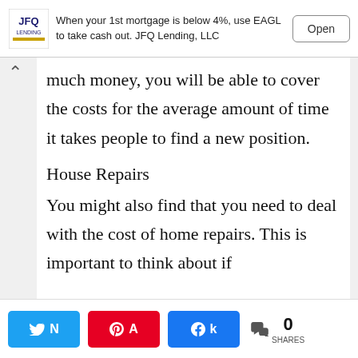[Figure (other): Advertisement banner: JFQ Lending logo, text 'When your 1st mortgage is below 4%, use EAGL to take cash out. JFQ Lending, LLC', with an 'Open' button]
much money, you will be able to cover the costs for the average amount of time it takes people to find a new position.
House Repairs
You might also find that you need to deal with the cost of home repairs. This is important to think about if
[Figure (other): Social share bar with Twitter, Pinterest, Facebook buttons and share count showing 0 SHARES]